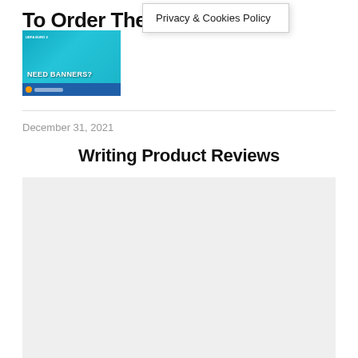To Order Them A
Privacy & Cookies Policy
[Figure (photo): UEFA EURO 2020 banner advertisement on a truck/vehicle with text 'NEED BANNERS?' and a blue background.]
December 31, 2021
Writing Product Reviews
[Figure (other): Large gray placeholder block below the article title.]